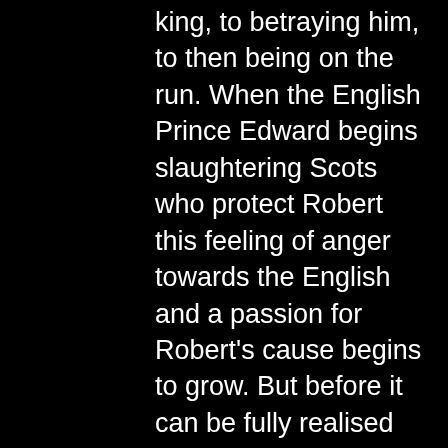king, to betraying him, to then being on the run. When the English Prince Edward begins slaughtering Scots who protect Robert this feeling of anger towards the English and a passion for Robert's cause begins to grow. But before it can be fully realised we are off to the next scene. It doesn't feel like there is much time to breathe.
In saying that, it is a cracking tale with some of the best medieval war scenes ever filmed. Its utter bloody, muddy chaos and its frenetic; it never lets you up for air as you see men and horses swamped in mud, shot with arrows, and slaughtered by